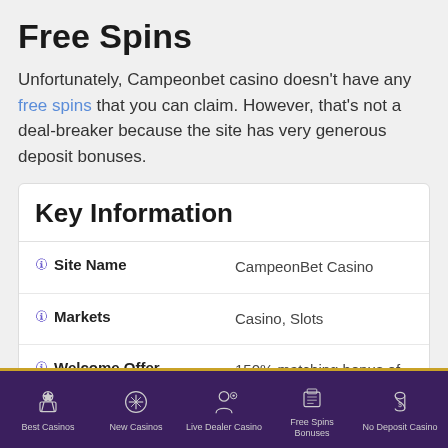Free Spins
Unfortunately, Campeonbet casino doesn't have any free spins that you can claim. However, that's not a deal-breaker because the site has very generous deposit bonuses.
|  |  |
| --- | --- |
| 🛈 Site Name | CampeonBet Casino |
| 🛈 Markets | Casino, Slots |
| 🛈 Welcome Offer | 150% matching bonus of up to €450 |
Best Casinos | New Casinos | Live Dealer Casino | Free Spins Bonuses | No Deposit Casino